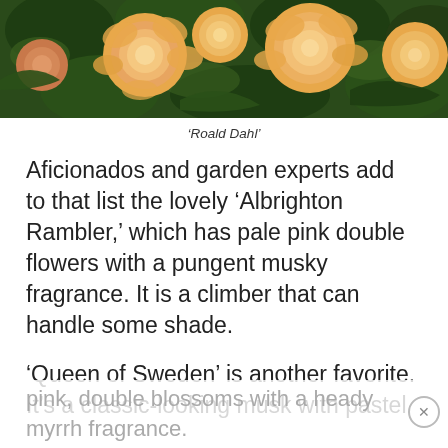[Figure (photo): Close-up photograph of peach/apricot colored roses with green foliage in background, cropped at top of page]
‘Roald Dahl’
Aficionados and garden experts add to that list the lovely ‘Albrighton Rambler,’ which has pale pink double flowers with a pungent musky fragrance. It is a climber that can handle some shade.
‘Queen of Sweden’ is another favorite. It’s a classic-looking musk with pastel pink, double blossoms with a heady myrrh fragrance.